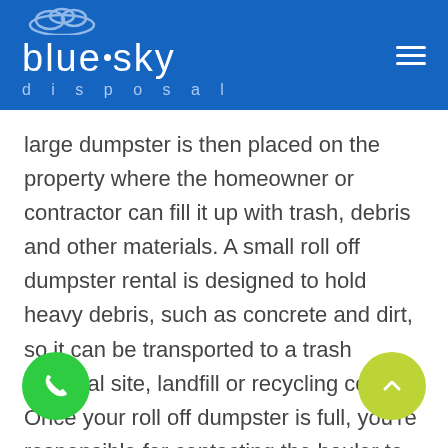[Figure (logo): Blue Sky Disposal logo with cloud icon on blue header background, plus hamburger menu icon on right]
large dumpster is then placed on the property where the homeowner or contractor can fill it up with trash, debris and other materials. A small roll off dumpster rental is designed to hold heavy debris, such as concrete and dirt, so it can be transported to a trash disposal site, landfill or recycling center. Once your roll off dumpster is full, you're responsible for contacting the hauler to come get your roll off dumpster and take your junk away. Knowing the cost of a roll off dumpster before you rent one will help you avoid unexpected fees and charges as part of your rental contract. The average cost for renting a